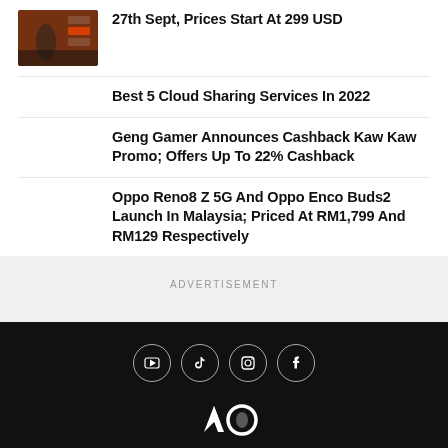[Figure (photo): Thumbnail image of a person on stage with product graphics, orange and dark tones]
27th Sept, Prices Start At 299 USD
Best 5 Cloud Sharing Services In 2022
Geng Gamer Announces Cashback Kaw Kaw Promo; Offers Up To 22% Cashback
Oppo Reno8 Z 5G And Oppo Enco Buds2 Launch In Malaysia; Priced At RM1,799 And RM129 Respectively
ADVERTISEMENT
[Figure (logo): Website logo in white on dark background, stylized letters]
[Figure (infographic): Social media icons: YouTube, TikTok, Instagram, Facebook in circular borders]